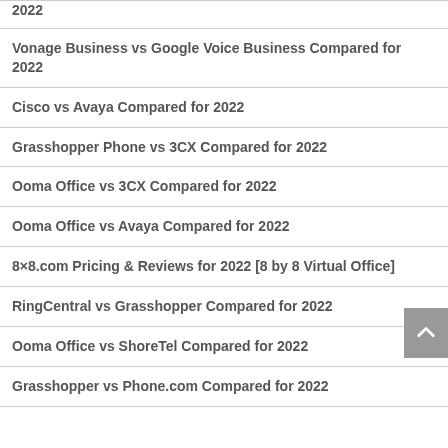2022
Vonage Business vs Google Voice Business Compared for 2022
Cisco vs Avaya Compared for 2022
Grasshopper Phone vs 3CX Compared for 2022
Ooma Office vs 3CX Compared for 2022
Ooma Office vs Avaya Compared for 2022
8×8.com Pricing & Reviews for 2022 [8 by 8 Virtual Office]
RingCentral vs Grasshopper Compared for 2022
Ooma Office vs ShoreTel Compared for 2022
Grasshopper vs Phone.com Compared for 2022